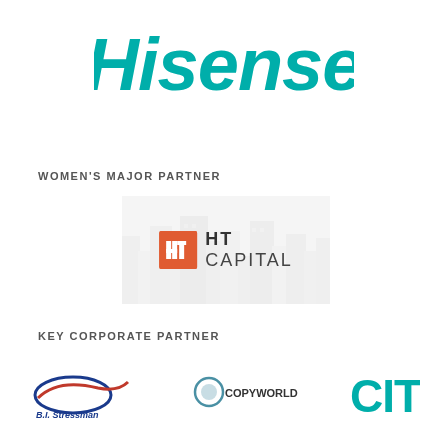[Figure (logo): Hisense brand logo in teal/green color, large bold italic text]
WOMEN'S MAJOR PARTNER
[Figure (logo): HT Capital logo with orange square icon containing 'Ht' letters and 'HT CAPITAL' text, on a faded cityscape background]
KEY CORPORATE PARTNER
[Figure (logo): B.I. Stressman logo (partial, bottom of page)]
[Figure (logo): Copyworld logo (partial, bottom of page)]
[Figure (logo): CITY logo in teal color (partial, bottom of page)]